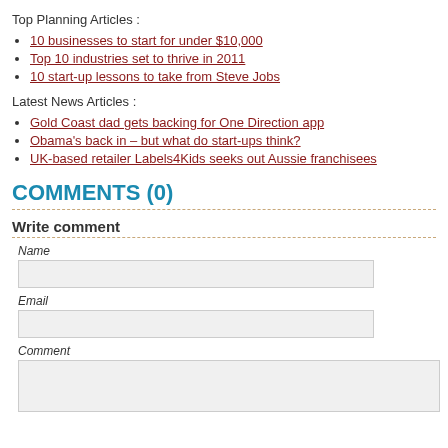Top Planning Articles :
10 businesses to start for under $10,000
Top 10 industries set to thrive in 2011
10 start-up lessons to take from Steve Jobs
Latest News Articles :
Gold Coast dad gets backing for One Direction app
Obama's back in – but what do start-ups think?
UK-based retailer Labels4Kids seeks out Aussie franchisees
COMMENTS (0)
Write comment
Name
Email
Comment